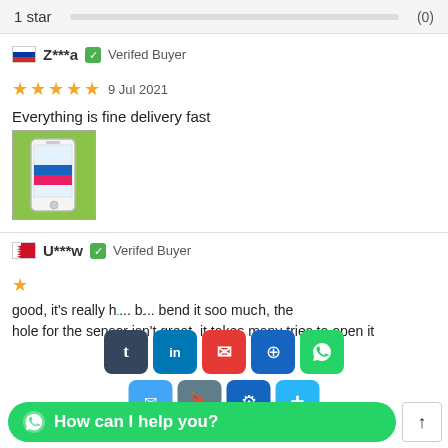1 star (0)
Z***a  Verifed Buyer
★★★★★  9 Jul 2021
Everything is fine delivery fast
[Figure (photo): Photo of a phone screen protector in green packaging]
U***w  Verifed Buyer
★
good, it's really h... b... bend it soo much, the hole for the sensor isn't great, it takes many tries to open it
[Figure (infographic): Social sharing bar with tumblr, linkedin, email, messenger, whatsapp icons, and a WhatsApp chat bubble saying 'How can I help you?' and a scroll-up arrow.]